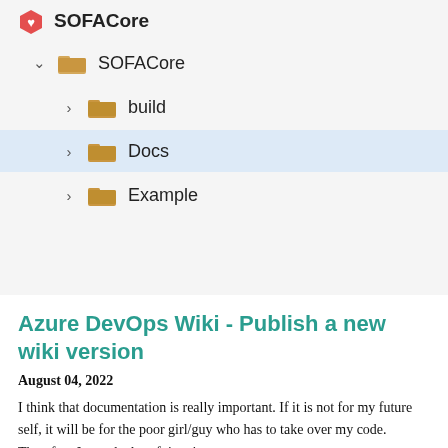[Figure (screenshot): File tree panel showing SOFACore project folder structure with SOFACore logo at top, then SOFACore root folder expanded with subfolders: build, Docs (highlighted in blue), Example]
Azure DevOps Wiki - Publish a new wiki version
August 04, 2022
I think that documentation is really important. If it is not for my future self, it will be for the poor girl/guy who has to take over my code. Therefore I spend a lot of time in